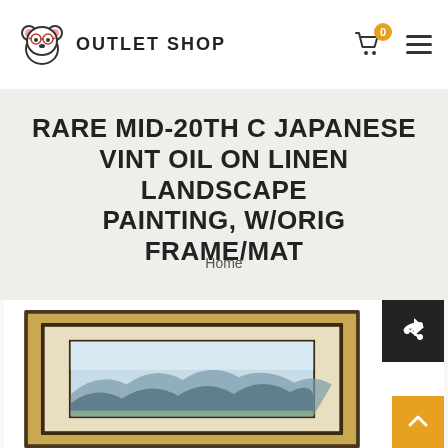OUTLET SHOP
RARE MID-20TH C JAPANESE VINT OIL ON LINEN LANDSCAPE PAINTING, W/ORIG FRAME/MAT
Home
[Figure (photo): A framed Japanese landscape oil painting on linen showing mountains and sky, with a wide gilt/dark wood frame and cream mat. Share button overlay in top-right corner, scroll-to-top button in bottom-right.]